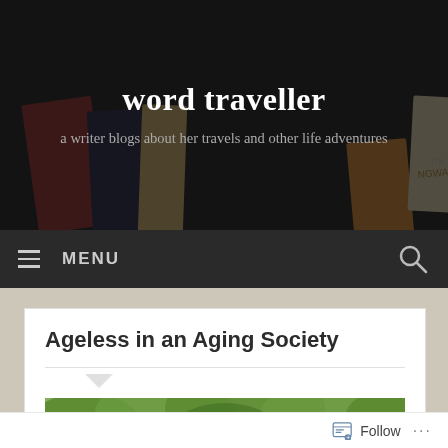word traveller
a writer blogs about her travels and other life adventures
[Figure (screenshot): Dark navigation bar with hamburger menu icon, MENU text, and search icon on dark background]
Ageless in an Aging Society
[Figure (photo): Outdoor photo showing green trees with leafy canopy against sky]
Follow ...